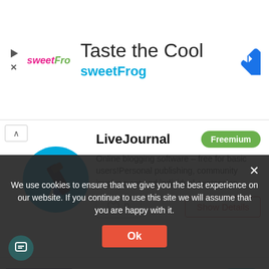[Figure (screenshot): SweetFrog advertisement banner with logo, 'Taste the Cool' heading, 'sweetFrog' subtitle, and navigation arrow icon]
LiveJournal
Online blogging software – free for basic users!Personal publishing, community involvement and individual expression.
Worka
Worka looks for providing the best tool
We use cookies to ensure that we give you the best experience on our website. If you continue to use this site we will assume that you are happy with it.